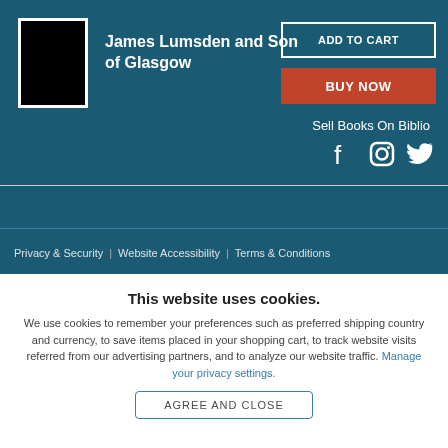[Figure (illustration): Book cover thumbnail, black background with white border]
James Lumsden and Son of Glasgow
ADD TO CART
BUY NOW
Sell Books On Biblio
[Figure (illustration): Social media icons: Facebook, Instagram, Twitter]
Privacy & Security | Website Accessibility | Terms & Conditions
This website uses cookies.
We use cookies to remember your preferences such as preferred shipping country and currency, to save items placed in your shopping cart, to track website visits referred from our advertising partners, and to analyze our website traffic. Manage your privacy settings.
AGREE AND CLOSE